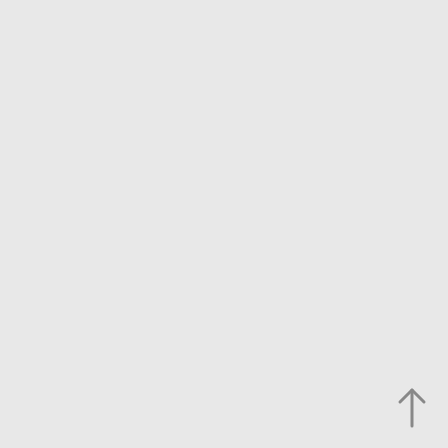[Figure (illustration): Two stacked white boxes each containing 'Image coming soon' text in bold dark red/maroon serif-style font, separated by a horizontal divider line, on a light gray background. An upward-pointing arrow icon appears to the right.]